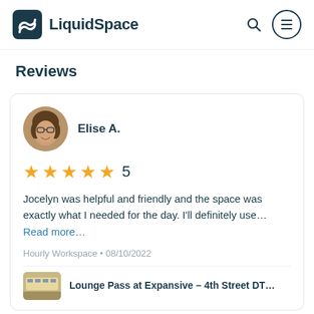LiquidSpace
Reviews
Elise A.
5 stars — rating: 5
Jocelyn was helpful and friendly and the space was exactly what I needed for the day. I'll definitely use… Read more…
Hourly Workspace • 08/10/2022
Lounge Pass at Expansive – 4th Street DT…